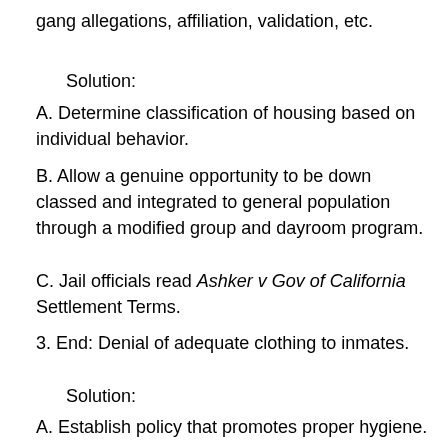gang allegations, affiliation, validation, etc.
Solution:
A. Determine classification of housing based on individual behavior.
B. Allow a genuine opportunity to be down classed and integrated to general population through a modified group and dayroom program.
C. Jail officials read Ashker v Gov of California Settlement Terms.
3. End: Denial of adequate clothing to inmates.
Solution:
A. Establish policy that promotes proper hygiene.
B. Provide two sets of all clothes.
4. End: Jail profiteering and exploitation of prisoners and